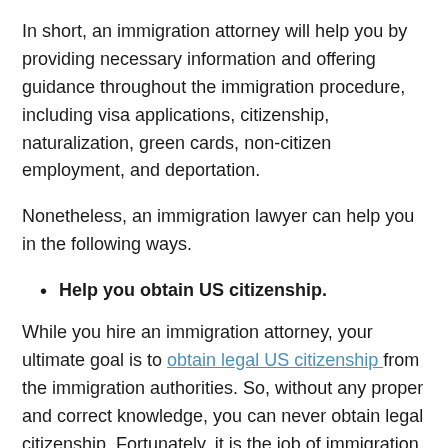In short, an immigration attorney will help you by providing necessary information and offering guidance throughout the immigration procedure, including visa applications, citizenship, naturalization, green cards, non-citizen employment, and deportation.
Nonetheless, an immigration lawyer can help you in the following ways.
Help you obtain US citizenship.
While you hire an immigration attorney, your ultimate goal is to obtain legal US citizenship from the immigration authorities. So, without any proper and correct knowledge, you can never obtain legal citizenship. Fortunately, it is the job of immigration lawyers to guide and help you find the right and legal path to US citizenship.